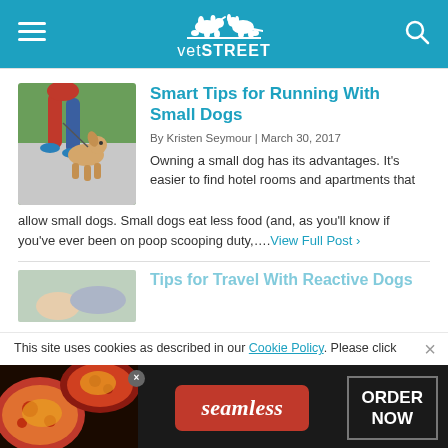vetSTREET
Smart Tips for Running With Small Dogs
By Kristen Seymour | March 30, 2017
Owning a small dog has its advantages. It's easier to find hotel rooms and apartments that allow small dogs. Small dogs eat less food (and, as you'll know if you've ever been on poop scooping duty,….View Full Post ›
Tips for Travel With Reactive Dogs
This site uses cookies as described in our Cookie Policy. Please click
[Figure (screenshot): Seamless food delivery advertisement banner with pizza image, red Seamless pill button, and ORDER NOW box]